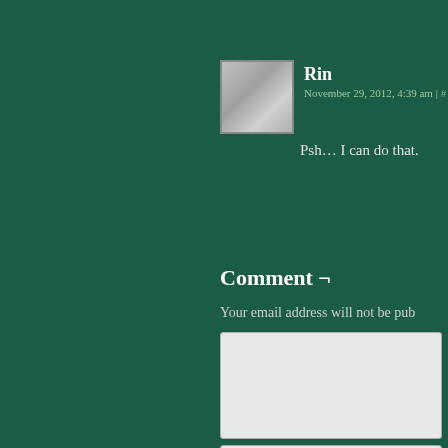Rin
November 29, 2012, 4:39 am | #
Psh… I can do that.
Comment ¬
Your email address will not be pub…
[Figure (other): Comment form with textarea, input fields, captcha math equation (+ two = 8) with refresh icon, and Post Comment button]